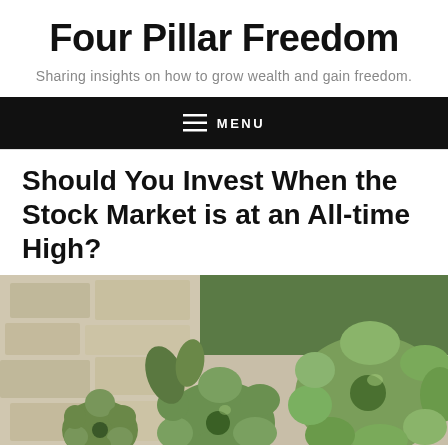Four Pillar Freedom
Sharing insights on how to grow wealth and gain freedom.
≡ MENU
Should You Invest When the Stock Market is at an All-time High?
[Figure (photo): Close-up photo of green succulent plants growing against a stone or concrete wall background.]